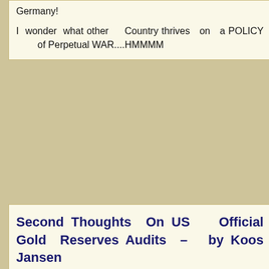Germany!

I wonder what other Country thrives on a POLICY of Perpetual WAR....HMMMM
Second Thoughts On US Official Gold Reserves Audits – by Koos Jansen
Posted by drb2 @ 12:05 on February 10, 2015
Second Thoughts On US Official Gold Reserves Audits – by Koos Jansen